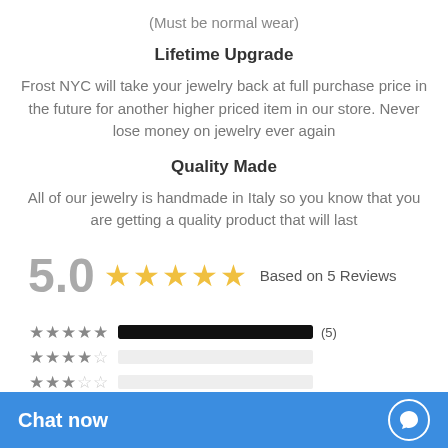(Must be normal wear)
Lifetime Upgrade
Frost NYC will take your jewelry back at full purchase price in the future for another higher priced item in our store. Never lose money on jewelry ever again
Quality Made
All of our jewelry is handmade in Italy so you know that you are getting a quality product that will last
5.0 ★★★★★ Based on 5 Reviews
[Figure (infographic): Star rating breakdown bars: 5-star full bar (5), 4-star empty bar (0), 3-star empty bar (0)]